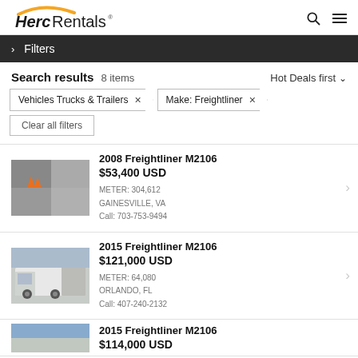HercRentals
> Filters
Search results  8 items  Hot Deals first
Vehicles Trucks & Trailers ×
Make: Freightliner ×
Clear all filters
2008 Freightliner M2106
$53,400 USD
METER: 304,612
GAINESVILLE, VA
Call: 703-753-9494
2015 Freightliner M2106
$121,000 USD
METER: 64,080
ORLANDO, FL
Call: 407-240-2132
2015 Freightliner M2106
$114,000 USD